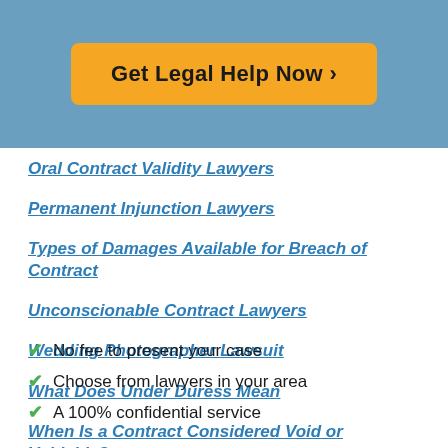[Figure (other): Orange button with text 'Get Legal Help Now >' on a blue background header]
Oral Contract Validity Lawyers
Permanent Injunction Lawyers
Types of Damages Available for Breach of Contract
Unconscionable Contract Lawyers
Wedding Photographer Lawsuit
What Does Under Duress Mean
When Is a Contract Considered Void or Voidable?
When Is a Contract Considered Void or Voidable?
✔ No fee to present your case
✔ Choose from lawyers in your area
✔ A 100% confidential service